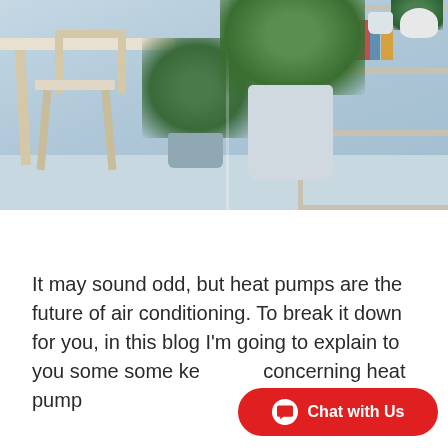[Figure (photo): Interior room scene showing a wooden chair beside a white table, large leafy tropical plants in light blue/gray pots, a wooden ladder-style shelf with books, small white decorative pots and plants on shelves. Light blue-gray color palette.]
It may sound odd, but heat pumps are the future of air conditioning. To break it down for you, in this blog I'm going to explain to you some some ke concerning heat pump